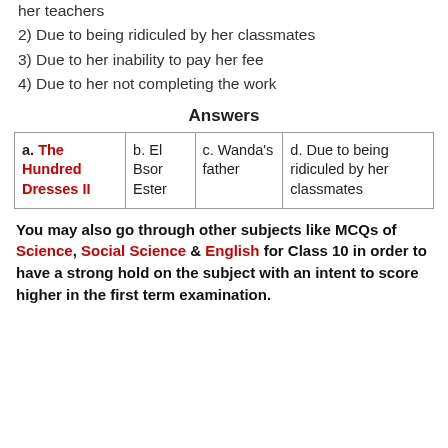her teachers
2) Due to being ridiculed by her classmates
3) Due to her inability to pay her fee
4) Due to her not completing the work
Answers
| a. | b. | c. | d. |
| --- | --- | --- | --- |
| The Hundred Dresses II | El Bsor Ester | Wanda's father | Due to being ridiculed by her classmates |
You may also go through other subjects like MCQs of Science, Social Science & English for Class 10 in order to have a strong hold on the subject with an intent to score higher in the first term examination.